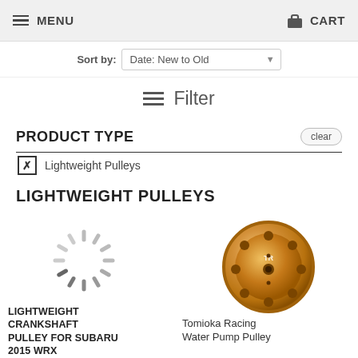MENU   CART
Sort by: Date: New to Old
Filter
PRODUCT TYPE
Lightweight Pulleys
LIGHTWEIGHT PULLEYS
[Figure (illustration): Loading spinner (circular dashed loading indicator)]
[Figure (photo): Gold anodized aluminum water pump pulley with drilled holes, by Tomioka Racing]
LIGHTWEIGHT CRANKSHAFT PULLEY FOR SUBARU 2015 WRX
Tomioka Racing Water Pump Pulley